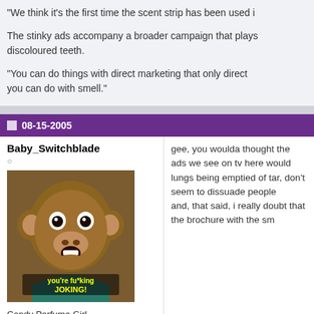"We think it's the first time the scent strip has been used i
The stinky ads accompany a broader campaign that plays discoloured teeth.
"You can do things with direct marketing that only direct you can do with smell."
08-15-2005
Baby_Switchblade
[Figure (photo): Avatar image of a monkey/orangutan with text 'you're fucking JOKING!']
Candy Perfume Girl
Join Date: Aug 2005
Location:  over there
Posts:      686
gee, you woulda thought the ads we see on tv here would lungs being emptied of tar, don't seem to dissuade people and, that said, i really doubt that the brochure with the sm
08-15-2005